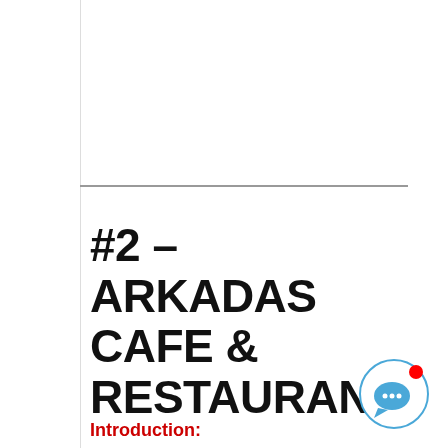#2 – ARKADAS CAFE & RESTAURANT
Introduction: